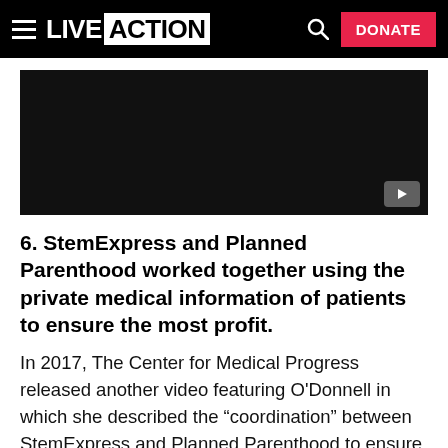LIVE ACTION  [search] DONATE
[Figure (screenshot): Dark/black video thumbnail with a YouTube play button in the bottom-right corner]
6. StemExpress and Planned Parenthood worked together using the private medical information of patients to ensure the most profit.
In 2017, The Center for Medical Progress released another video featuring O’Donnell in which she described the “coordination” between StemExpress and Planned Parenthood to ensure that they received the organs that would be most profitable to them when resold: